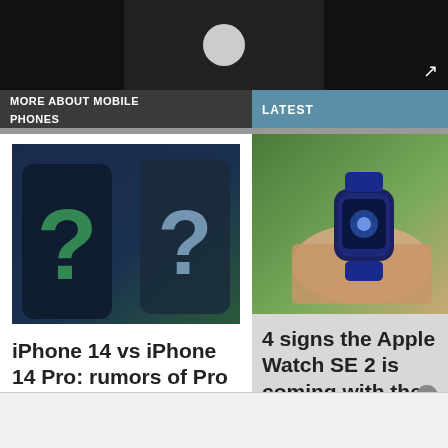[Figure (screenshot): Top black video bar with gray circle thumbnail centered]
MORE ABOUT MOBILE PHONES
LATEST
[Figure (photo): Two dark iPhones with question marks overlaid on them, suggesting iPhone 14 vs iPhone 14 Pro comparison]
iPhone 14 vs iPhone 14 Pro: rumors of Pro superiority? ▶
[Figure (photo): Person wearing Apple Watch SE 2 on wrist outdoors with green foliage in background]
4 signs the Apple Watch SE 2 is coming with the iPhone 14 ▶